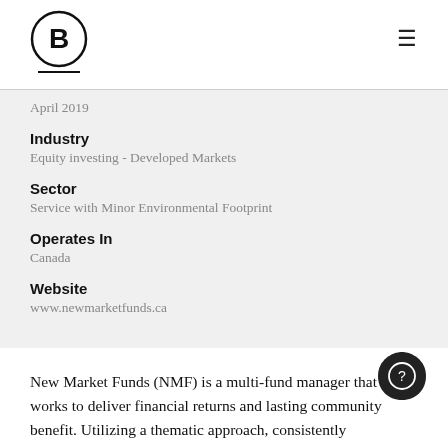B (logo) | April 2019
Industry
Equity investing - Developed Markets
Sector
Service with Minor Environmental Footprint
Operates In
Canada
Website
www.newmarketfunds.ca
New Market Funds (NMF) is a multi-fund manager that works to deliver financial returns and lasting community benefit. Utilizing a thematic approach, consistently